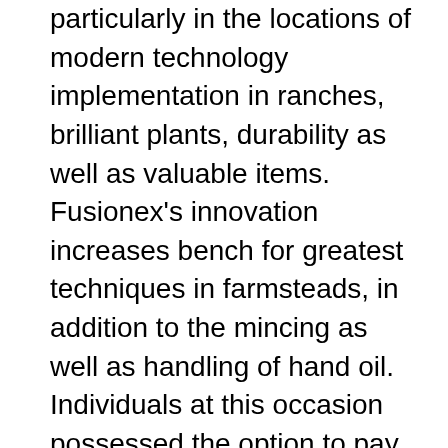particularly in the locations of modern technology implementation in ranches, brilliant plants, durability as well as valuable items. Fusionex's innovation increases bench for greatest techniques in farmsteads, in addition to the mincing as well as handling of hand oil. Individuals at this occasion possessed the option to pay attention to Fusionex content pros talk on just how groundbreaking modern technologies like Sector 4.0 (IR 4.0), the Net of Traits, Expert System (Artificial Intelligence), Artificial Intelligence and also Big Information Analytics may exceptionally enhance their service methods, optimize turnout, strengthen general high quality, along with rise efficiency and also revenues. The Official of Key Industries YB Puan Teresa Kok Suh Sim, that participated in the activity as well as released the 'Smart Hand Oil Factory Engagement Program', praised Fusionex as well as MOSTA for their devotion to improve Malaysia's hand oil field along with state-of-the-